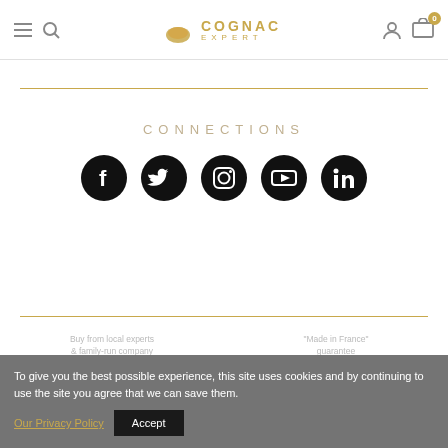Cognac Expert
CONNECTIONS
[Figure (illustration): Five social media icon circles: Facebook, Twitter, Instagram, YouTube, LinkedIn]
Buy from local experts & family-run company
"Made in France" guarantee
To give you the best possible experience, this site uses cookies and by continuing to use the site you agree that we can save them.  Our Privacy Policy  Accept